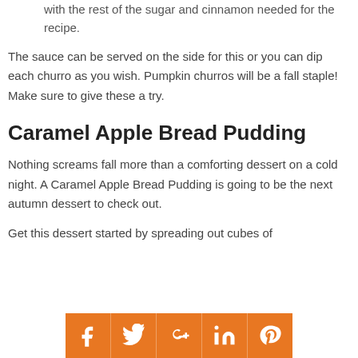with the rest of the sugar and cinnamon needed for the recipe.
The sauce can be served on the side for this or you can dip each churro as you wish. Pumpkin churros will be a fall staple! Make sure to give these a try.
Caramel Apple Bread Pudding
Nothing screams fall more than a comforting dessert on a cold night. A Caramel Apple Bread Pudding is going to be the next autumn dessert to check out.
Get this dessert started by spreading out cubes of
[Figure (infographic): Social media share buttons row: Facebook, Twitter, Google+, LinkedIn, Pinterest icons on orange background]